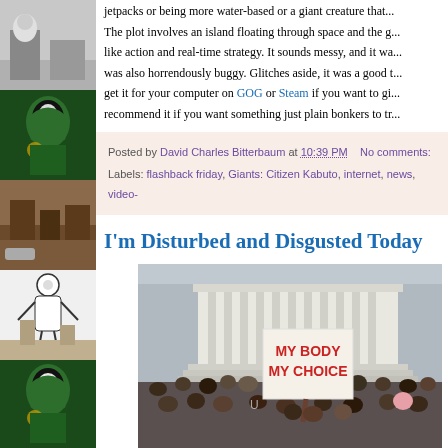[Figure (illustration): Sidebar with comic/illustration thumbnails of masked/robed figures stacked vertically on the left]
jetpacks or being more water-based or a giant creature that... The plot involves an island floating through space and the g... like action and real-time strategy. It sounds messy, and it wa... was also horrendously buggy. Glitches aside, it was a good t... get it for your computer on GOG or Steam if you want to gi... recommend it if you want something just plain bonkers to tr...
Posted by David Charles Bitterbaum at 10:39 PM    No comments:
Labels: flashback friday, Giants: Citizen Kabuto, internet, news, video-
I'm Disturbed and Disgusted Today
[Figure (photo): Protest photo showing crowd holding a sign reading MY BODY MY CHOICE in front of what appears to be the US Supreme Court building]